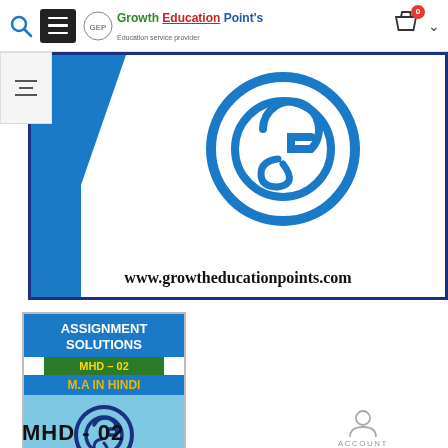Growth Education Point's – www.growtheducationpoints.com
[Figure (logo): Growth Education Points website banner with IGNOU logo and URL www.growtheducationpoints.com]
[Figure (illustration): Assignment Solutions MHD-02 M.A IN HINDI product thumbnail with IGNOU logo]
MHD - 02
ACCOUNT